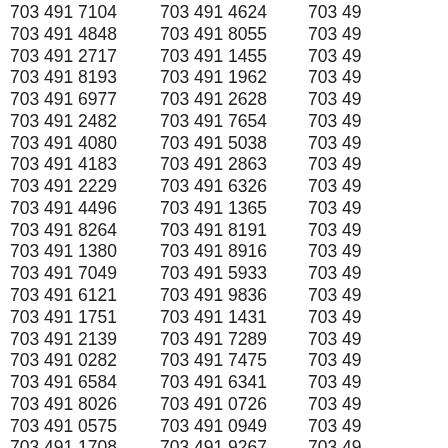703 491 7104
703 491 4848
703 491 2717
703 491 8193
703 491 6977
703 491 2482
703 491 4080
703 491 4183
703 491 2229
703 491 4496
703 491 8264
703 491 1380
703 491 7049
703 491 6121
703 491 1751
703 491 2139
703 491 0282
703 491 6584
703 491 8026
703 491 0575
703 491 1708
703 491 4624
703 491 8055
703 491 1455
703 491 1962
703 491 2628
703 491 7654
703 491 5038
703 491 2863
703 491 6326
703 491 1365
703 491 8191
703 491 8916
703 491 5933
703 491 9836
703 491 1431
703 491 7289
703 491 7475
703 491 6341
703 491 0726
703 491 0949
703 491 9267
703 49
703 49
703 49
703 49
703 49
703 49
703 49
703 49
703 49
703 49
703 49
703 49
703 49
703 49
703 49
703 49
703 49
703 49
703 49
703 49
703 49